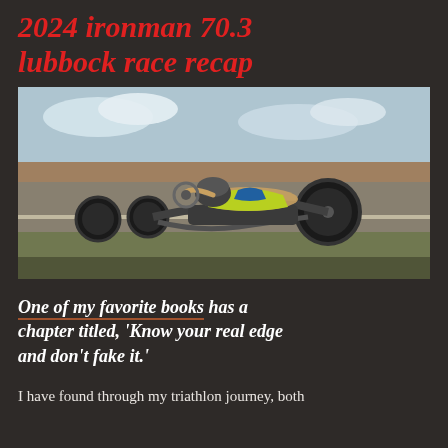2024 ironman 70.3 lubbock race recap
[Figure (photo): Athlete lying in a recumbent handcycle on a road, wearing a yellow/green kit and helmet, with flat Texas landscape in the background.]
One of my favorite books has a chapter titled, 'Know your real edge and don't fake it.'
I have found through my triathlon journey, both